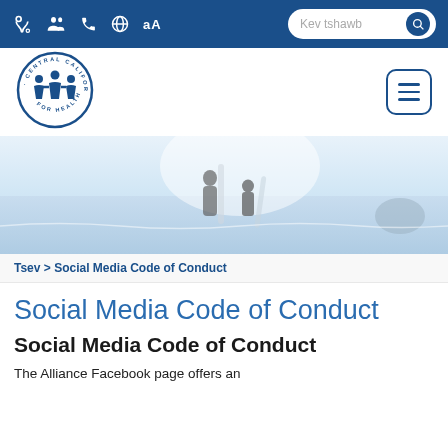Kev tshawb [search bar with icons]
[Figure (logo): Central California Alliance for Health circular logo with figures]
[Figure (photo): Hero banner showing two people with surfboards at the beach, bright sunny day]
Tsev > Social Media Code of Conduct
Social Media Code of Conduct
Social Media Code of Conduct
The Alliance Facebook page offers an